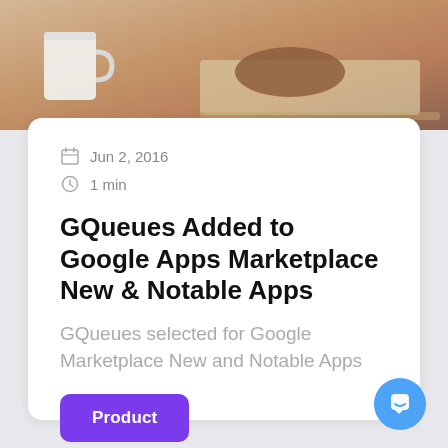[Figure (photo): Photo of a person working on a laptop, with a coffee mug visible in the foreground, warm tones]
Jun 2, 2016
1 min
GQueues Added to Google Apps Marketplace New & Notable Apps
GQueues selected for Google Marketplace New and Notable Apps
Product